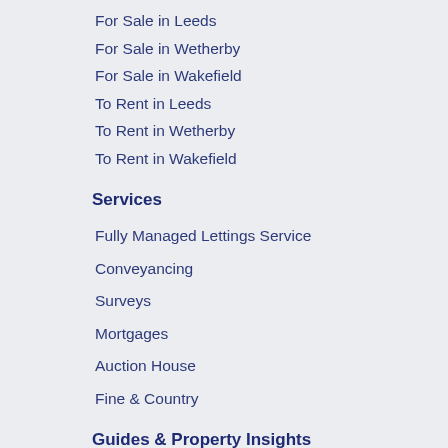For Sale in Leeds
For Sale in Wetherby
For Sale in Wakefield
To Rent in Leeds
To Rent in Wetherby
To Rent in Wakefield
Services
Fully Managed Lettings Service
Conveyancing
Surveys
Mortgages
Auction House
Fine & Country
Guides & Property Insights
Property Insights & News
Area Guides
Market Updates